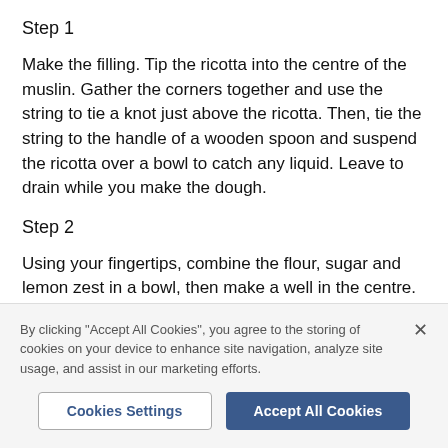Step 1
Make the filling. Tip the ricotta into the centre of the muslin. Gather the corners together and use the string to tie a knot just above the ricotta. Then, tie the string to the handle of a wooden spoon and suspend the ricotta over a bowl to catch any liquid. Leave to drain while you make the dough.
Step 2
Using your fingertips, combine the flour, sugar and lemon zest in a bowl, then make a well in the centre. In
By clicking "Accept All Cookies", you agree to the storing of cookies on your device to enhance site navigation, analyze site usage, and assist in our marketing efforts.
Cookies Settings
Accept All Cookies